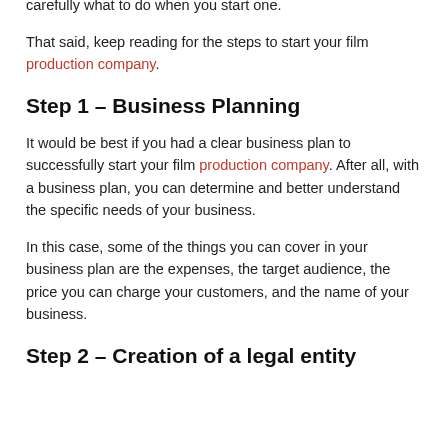own film production company. In this case, you need to plan carefully what to do when you start one.
That said, keep reading for the steps to start your film production company.
Step 1 – Business Planning
It would be best if you had a clear business plan to successfully start your film production company. After all, with a business plan, you can determine and better understand the specific needs of your business.
In this case, some of the things you can cover in your business plan are the expenses, the target audience, the price you can charge your customers, and the name of your business.
Step 2 – Creation of a legal entity